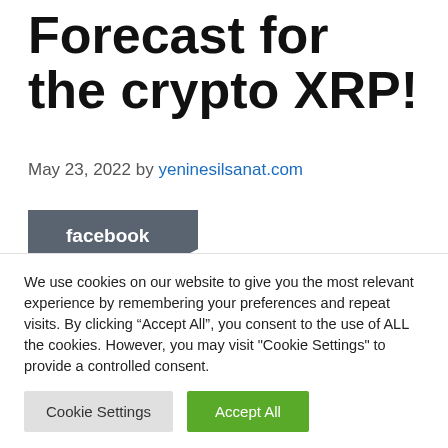Forecast for the crypto XRP!
May 23, 2022 by yeninesilsanat.com
[Figure (other): Social share buttons for Facebook and Twitter]
We use cookies on our website to give you the most relevant experience by remembering your preferences and repeat visits. By clicking “Accept All”, you consent to the use of ALL the cookies. However, you may visit "Cookie Settings" to provide a controlled consent.